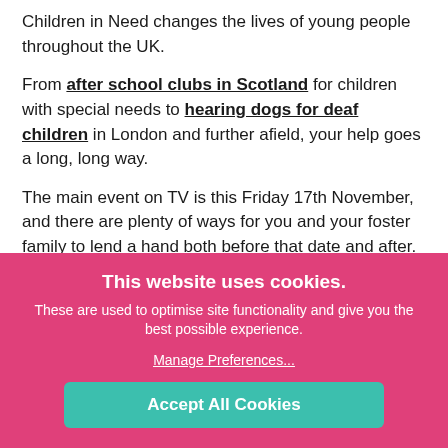Children in Need changes the lives of young people throughout the UK.
From after school clubs in Scotland for children with special needs to hearing dogs for deaf children in London and further afield, your help goes a long, long way.
The main event on TV is this Friday 17th November, and there are plenty of ways for you and your foster family to lend a hand both before that date and after.
This website uses cookies.
These are used to optimise site functionality and give you the best possible experience.
Manage Preferences...
Accept All Cookies